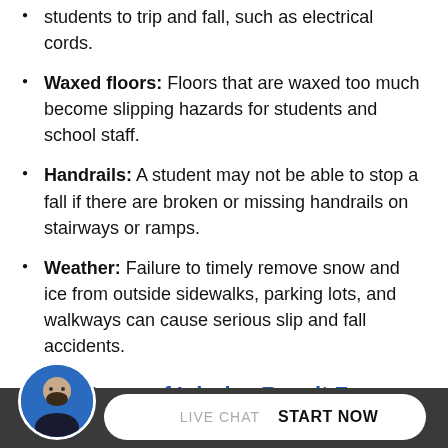Tripping hazards: Objects on the floor can cause students to trip and fall, such as electrical cords.
Waxed floors: Floors that are waxed too much become slipping hazards for students and school staff.
Handrails: A student may not be able to stop a fall if there are broken or missing handrails on stairways or ramps.
Weather: Failure to timely remove snow and ice from outside sidewalks, parking lots, and walkways can cause serious slip and fall accidents.
What Types of Injuries Result From School Slip and Fall Accidents?
There are many types of injuries that happen in school slip and fall accidents. Here are some of the most common injuries.